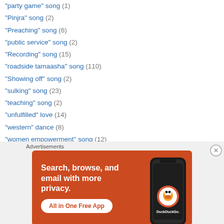"party game" song (1)
"Pinjra" song (2)
"Preaching" song (6)
"public service" song (2)
"Recording" song (15)
"roadside tamaasha" song (110)
"Showing off" song (2)
"sulking" song (23)
"teaching" song (2)
"unfulfilled" love (14)
"western" dance (8)
"women empowerment" song (12)
"you look familiar" song (3)
10k song milestone celebration posts (62)
Advertisements
[Figure (infographic): DuckDuckGo advertisement banner: orange background with white bold text 'Search, browse, and email with more privacy.' and 'All in One Free App' button, with a phone image showing DuckDuckGo app on the right side.]